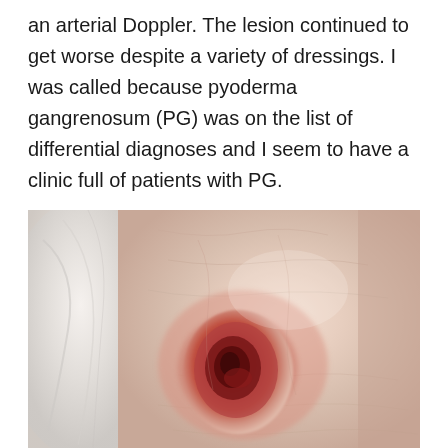an arterial Doppler. The lesion continued to get worse despite a variety of dressings. I was called because pyoderma gangrenosum (PG) was on the list of differential diagnoses and I seem to have a clinic full of patients with PG.
[Figure (photo): Clinical photograph of a lower limb/leg showing a skin wound or ulcer consistent with pyoderma gangrenosum. The wound appears as a dark red/maroon necrotic lesion on inflamed, erythematous skin. A white cloth or towel is visible on the left side of the image.]